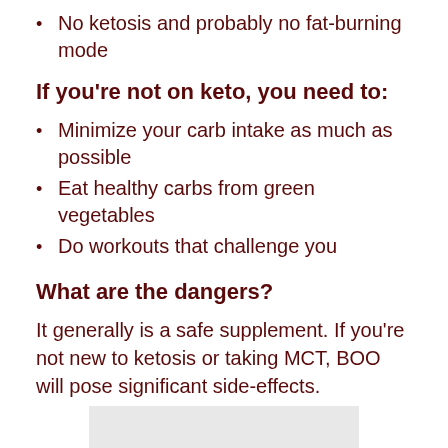No ketosis and probably no fat-burning mode
If you're not on keto, you need to:
Minimize your carb intake as much as possible
Eat healthy carbs from green vegetables
Do workouts that challenge you
What are the dangers?
It generally is a safe supplement. If you're not new to ketosis or taking MCT, BOO will pose significant side-effects.
[Figure (photo): A gray background image/photo at the bottom of the page]